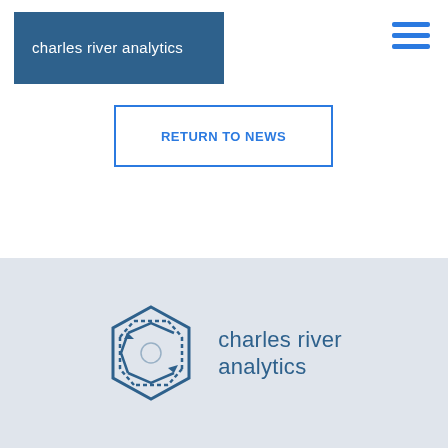charles river analytics
Return to News
[Figure (logo): Charles River Analytics logo with geometric C icon and company name text on light blue-gray background]